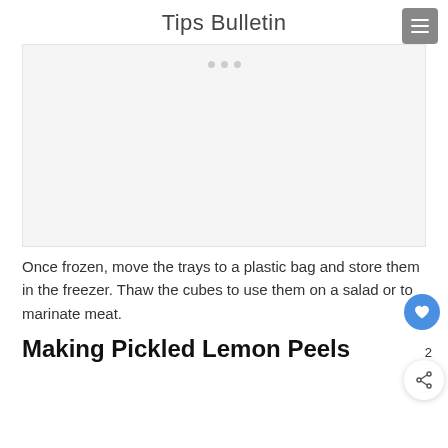Tips Bulletin
[Figure (other): Advertisement placeholder box with three grey dots at top center]
Once frozen, move the trays to a plastic bag and store them in the freezer. Thaw the cubes to use them on a salad or to marinate meat.
Making Pickled Lemon Peels